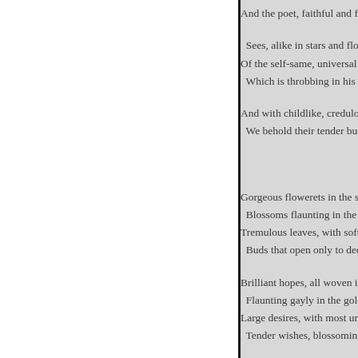And the poet, faithful and far-se
Sees, alike in stars and flo
Of the self-same, universal
Which is throbbing in his b

And with childlike, credulo
We behold their tender bud

Gorgeous flowerets in the s
Blossoms flaunting in the
Tremulous leaves, with soft
Buds that open only to ded

Brilliant hopes, all woven i
Flaunting gayly in the gold
Large desires, with most un
Tender wishes, blossoming